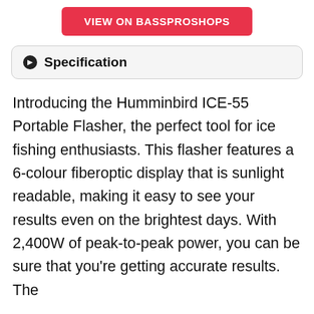[Figure (other): Red button with white bold text reading 'VIEW ON BASSPROSHOPS']
Specification
Introducing the Humminbird ICE-55 Portable Flasher, the perfect tool for ice fishing enthusiasts. This flasher features a 6-colour fiberoptic display that is sunlight readable, making it easy to see your results even on the brightest days. With 2,400W of peak-to-peak power, you can be sure that you’re getting accurate results. The